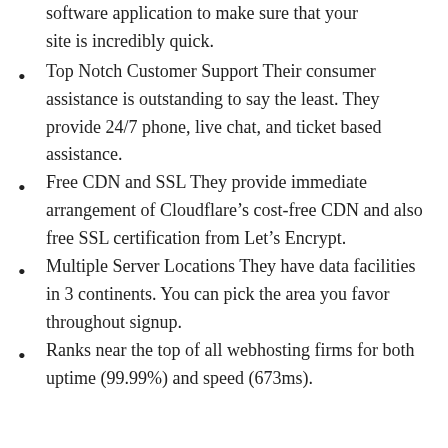software application to make sure that your site is incredibly quick.
Top Notch Customer Support Their consumer assistance is outstanding to say the least. They provide 24/7 phone, live chat, and ticket based assistance.
Free CDN and SSL They provide immediate arrangement of Cloudflare’s cost-free CDN and also free SSL certification from Let’s Encrypt.
Multiple Server Locations They have data facilities in 3 continents. You can pick the area you favor throughout signup.
Ranks near the top of all webhosting firms for both uptime (99.99%) and speed (673ms).